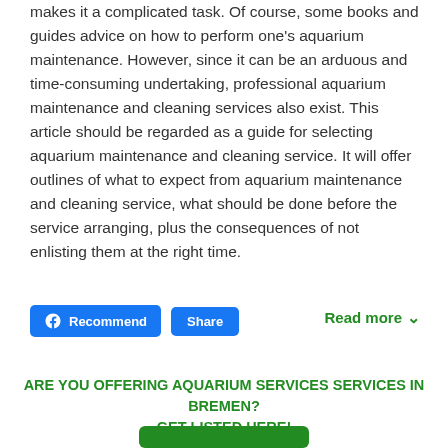makes it a complicated task. Of course, some books and guides advice on how to perform one's aquarium maintenance. However, since it can be an arduous and time-consuming undertaking, professional aquarium maintenance and cleaning services also exist. This article should be regarded as a guide for selecting aquarium maintenance and cleaning service. It will offer outlines of what to expect from aquarium maintenance and cleaning service, what should be done before the service arranging, plus the consequences of not enlisting them at the right time.
Read more ∨
[Figure (other): Facebook Recommend and Share buttons]
ARE YOU OFFERING AQUARIUM SERVICES SERVICES IN BREMEN?
GET LISTED HERE!
[Figure (other): Green call-to-action button at the bottom]